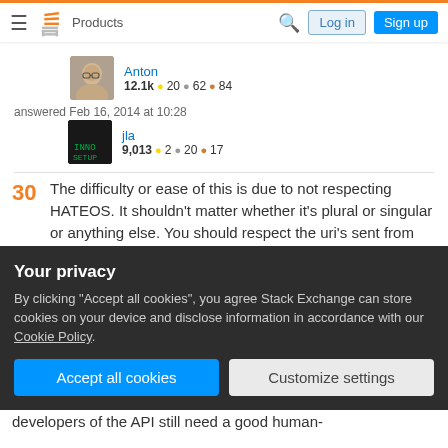Stack Overflow navigation — Products | Log in | Sign up
Anton
12.1k ● 20 ● 62 ● 84
answered Feb 16, 2014 at 10:28
jla
9,013 ● 2 ● 20 ● 17
30   The difficulty or ease of this is due to not respecting HATEOS. It shouldn't matter whether it's plural or singular or anything else. You should respect the uri's sent from the server and not "build up" your uri's on the client. Then you have 0 mapping to do for your code. – richard Apr 6, 2015 at 23:01
Your privacy
By clicking "Accept all cookies", you agree Stack Exchange can store cookies on your device and disclose information in accordance with our Cookie Policy.
Accept all cookies   Customize settings
developers of the API still need a good human-